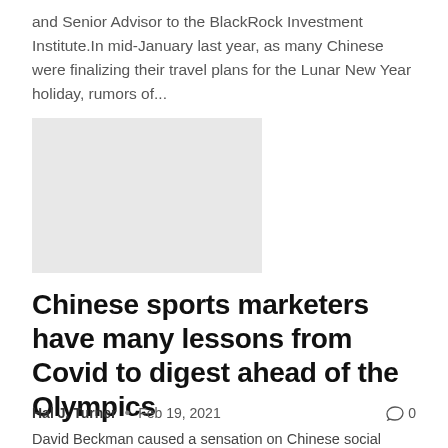and Senior Advisor to the BlackRock Investment Institute.In mid-January last year, as many Chinese were finalizing their travel plans for the Lunar New Year holiday, rumors of...
[Figure (photo): Gray placeholder image rectangle]
Chinese sports marketers have many lessons from Covid to digest ahead of the Olympics
Hal J. Turner  •  Feb 19, 2021  💬 0
David Beckman caused a sensation on Chinese social networks. factor Two of the world's best sporting moments are set to fall one